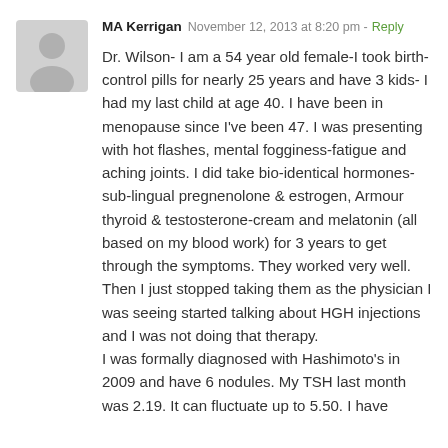MA Kerrigan  November 12, 2013 at 8:20 pm - Reply
Dr. Wilson- I am a 54 year old female-I took birth-control pills for nearly 25 years and have 3 kids- I had my last child at age 40. I have been in menopause since I've been 47. I was presenting with hot flashes, mental fogginess-fatigue and aching joints. I did take bio-identical hormones-sub-lingual pregnenolone & estrogen, Armour thyroid & testosterone-cream and melatonin (all based on my blood work) for 3 years to get through the symptoms. They worked very well. Then I just stopped taking them as the physician I was seeing started talking about HGH injections and I was not doing that therapy.
I was formally diagnosed with Hashimoto's in 2009 and have 6 nodules. My TSH last month was 2.19. It can fluctuate up to 5.50. I have